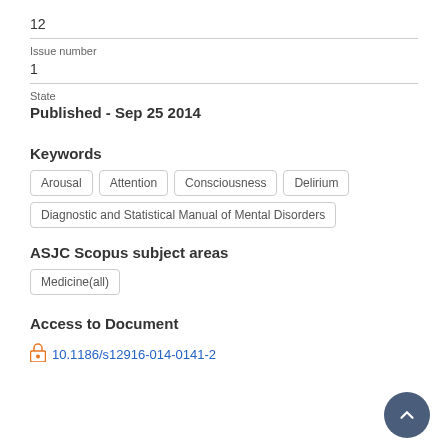12
Issue number
1
State
Published - Sep 25 2014
Keywords
Arousal
Attention
Consciousness
Delirium
Diagnostic and Statistical Manual of Mental Disorders
ASJC Scopus subject areas
Medicine(all)
Access to Document
10.1186/s12916-014-0141-2